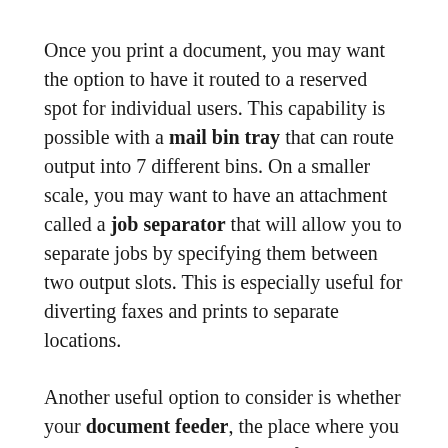Once you print a document, you may want the option to have it routed to a reserved spot for individual users. This capability is possible with a mail bin tray that can route output into 7 different bins. On a smaller scale, you may want to have an attachment called a job separator that will allow you to separate jobs by specifying them between two output slots. This is especially useful for diverting faxes and prints to separate locations.
Another useful option to consider is whether your document feeder, the place where you place your original documents for scanning and copying, is single pass or not. Single pass technology is where the paper is taken through the device one time and used on both